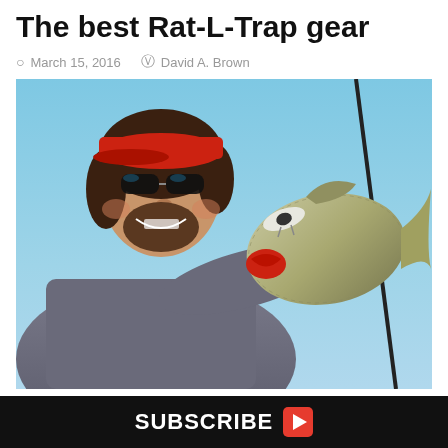The best Rat-L-Trap gear
March 15, 2016  David A. Brown
[Figure (photo): Man in gray long-sleeve shirt, red cap, and sunglasses holding up a large bass fish toward the camera. A fishing rod is visible in the background against a blue sky. A Rat-L-Trap lure is visible in the fish's mouth.]
SUBSCRIBE